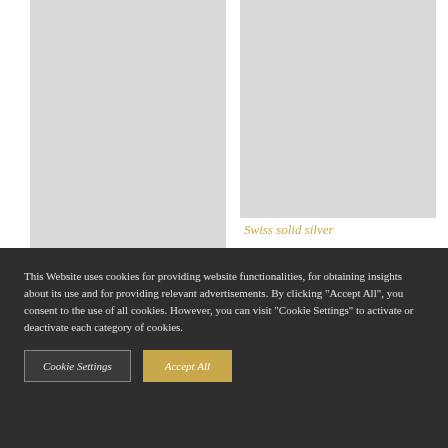[Figure (photo): Left image placeholder — tall gray rectangle]
[Figure (photo): Right image placeholder — gray rectangle, top portion]
Swiss solid silver
This Website uses cookies for providing website functionalities, for obtaining insights about its use and for providing relevant advertisements. By clicking “Accept All”, you consent to the use of all cookies. However, you can visit “Cookie Settings” to activate or deactivate each category of cookies.
Cookie Settings
Accept All